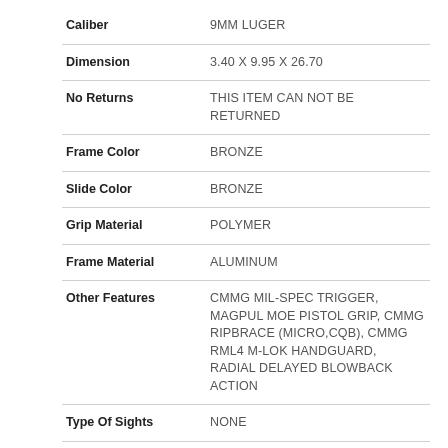| Attribute | Value |
| --- | --- |
| Caliber | 9MM LUGER |
| Dimension | 3.40 X 9.95 X 26.70 |
| No Returns | THIS ITEM CAN NOT BE RETURNED |
| Frame Color | BRONZE |
| Slide Color | BRONZE |
| Grip Material | POLYMER |
| Frame Material | ALUMINUM |
| Other Features | CMMG MIL-SPEC TRIGGER, MAGPUL MOE PISTOL GRIP, CMMG RIPBRACE (MICRO,CQB), CMMG RML4 M-LOK HANDGUARD, RADIAL DELAYED BLOWBACK ACTION |
| Type Of Sights | NONE |
| Other Features2 | 1/2-28" MUZZLE THREADS, 4140 CM BARREL MATERIAL, USES GLOCK STYLE MAGAZINES AMBIDEXTROUS CONTROLS, CERAKOTE BURNT BRONZE |